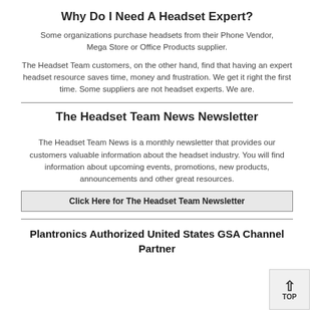Why Do I Need A Headset Expert?
Some organizations purchase headsets from their Phone Vendor, Mega Store or Office Products supplier.
The Headset Team customers, on the other hand, find that having an expert headset resource saves time, money and frustration. We get it right the first time. Some suppliers are not headset experts. We are.
The Headset Team News Newsletter
The Headset Team News is a monthly newsletter that provides our customers valuable information about the headset industry. You will find information about upcoming events, promotions, new products, announcements and other great resources.
Click Here for The Headset Team Newsletter
Plantronics Authorized United States GSA Channel Partner